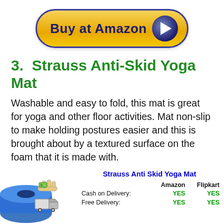[Figure (other): Buy at Amazon button with golden pill shape, dark blue border, and play button circle]
3.  Strauss Anti-Skid Yoga Mat
Washable and easy to fold, this mat is great for yoga and other floor activities. Mat non-slip to make holding postures easier and this is brought about by a textured surface on the foam that it is made with.
[Figure (infographic): Strauss Anti Skid Yoga Mat comparison table with Amazon and Flipkart columns showing Cash on Delivery YES/YES and Free Delivery YES/YES, with product image and delivery icons]